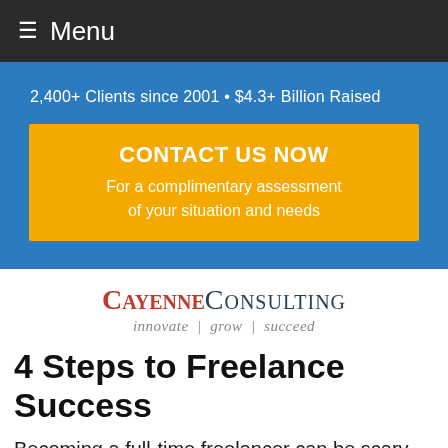☰ Menu
2,400+ Clients since 2001 • $4.3+ Billion Raised
CONTACT US NOW
For a complimentary assessment of your situation and needs
[Figure (logo): Cayenne Consulting logo with tagline: innovate | grow | succeed]
4 Steps to Freelance Success
Becoming a full-time freelancer can be scary,